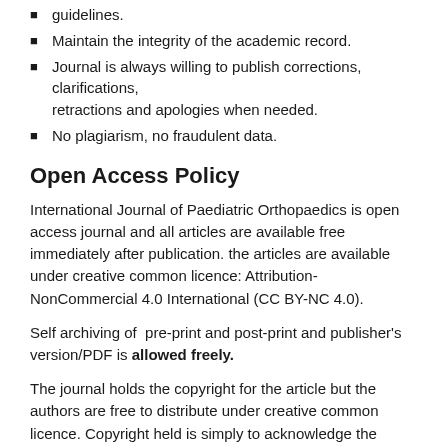guidelines.
Maintain the integrity of the academic record.
Journal is always willing to publish corrections, clarifications, retractions and apologies when needed.
No plagiarism, no fraudulent data.
Open Access Policy
International Journal of Paediatric Orthopaedics is open access journal and all articles are available free immediately after publication. the articles are available under creative common licence: Attribution-NonCommercial 4.0 International (CC BY-NC 4.0).
Self archiving of  pre-print and post-print and publisher's version/PDF is allowed freely.
The journal holds the copyright for the article but the authors are free to distribute under creative common licence. Copyright held is simply to acknowledge the journal in any